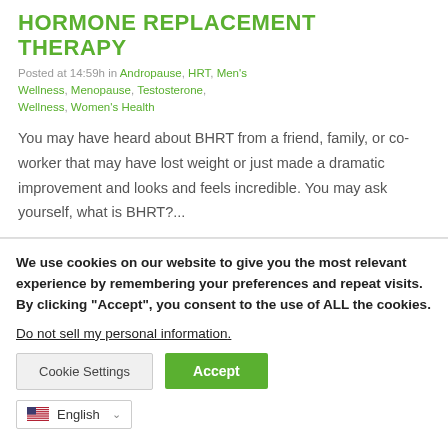HORMONE REPLACEMENT THERAPY
Posted at 14:59h in Andropause, HRT, Men's Wellness, Menopause, Testosterone, Wellness, Women's Health
You may have heard about BHRT from a friend, family, or co-worker that may have lost weight or just made a dramatic improvement and looks and feels incredible. You may ask yourself, what is BHRT?...
We use cookies on our website to give you the most relevant experience by remembering your preferences and repeat visits. By clicking “Accept”, you consent to the use of ALL the cookies.
Do not sell my personal information.